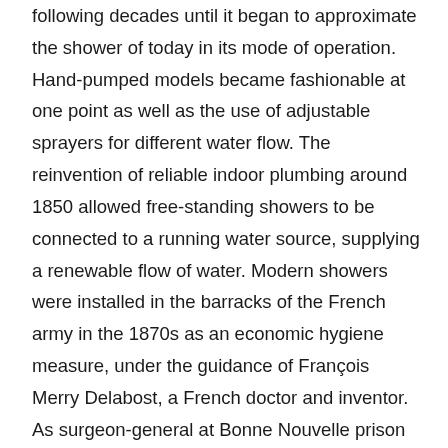following decades until it began to approximate the shower of today in its mode of operation. Hand-pumped models became fashionable at one point as well as the use of adjustable sprayers for different water flow. The reinvention of reliable indoor plumbing around 1850 allowed free-standing showers to be connected to a running water source, supplying a renewable flow of water. Modern showers were installed in the barracks of the French army in the 1870s as an economic hygiene measure, under the guidance of François Merry Delabost, a French doctor and inventor. As surgeon-general at Bonne Nouvelle prison in Rouen, Delabost had previously replaced individual baths with mandatory communal showers for use by prisoners, arguing that they were more economical and hygienic. First six, then eight shower stalls were installed. The water was heated by a steam engine and in less than five minutes, up to eight prisoners could wash simultaneously with only twenty liters of water. The French